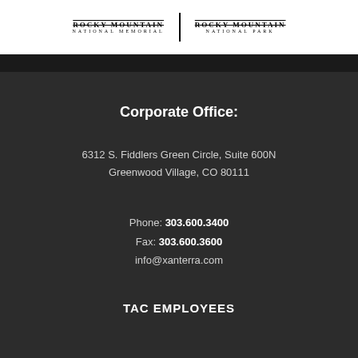[Figure (logo): Two logos side by side: 'Rocky Mountain National Memorial' and 'Rocky Mountain National Park', with text in uppercase serif lettering]
Corporate Office:
6312 S. Fiddlers Green Circle, Suite 600N
Greenwood Village, CO 80111
Phone: 303.600.3400
Fax: 303.600.3600
info@xanterra.com
TAC EMPLOYEES